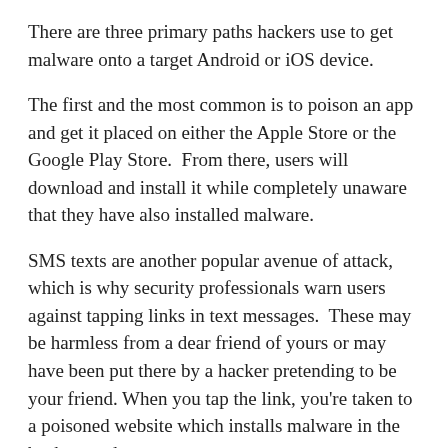There are three primary paths hackers use to get malware onto a target Android or iOS device.
The first and the most common is to poison an app and get it placed on either the Apple Store or the Google Play Store.  From there, users will download and install it while completely unaware that they have also installed malware.
SMS texts are another popular avenue of attack, which is why security professionals warn users against tapping links in text messages.  These may be harmless from a dear friend of yours or may have been put there by a hacker pretending to be your friend. When you tap the link, you're taken to a poisoned website which installs malware in the background.
Finally, there's email.  By now everyone has heard the dire warnings against clicking on links embedded in email messages or opening file attachments.  This applies whether you're reading your mail on your